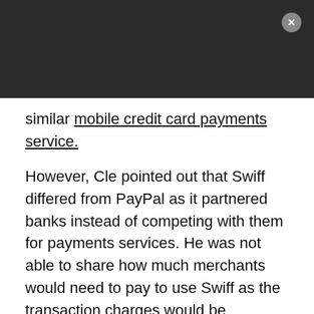[Figure (other): Dark header bar with close (X) button in top-right corner]
similar mobile credit card payments service.
However, Cle pointed out that Swiff differed from PayPal as it partnered banks instead of competing with them for payments services. He was not able to share how much merchants would need to pay to use Swiff as the transaction charges would be determined by the banks. Paypal charges a 2.7 percent fee for each transaction.
Cle expects Swiff to pick up even in developing markets where cash is still king. He explained that as there was less legacy payment processing infrastructure in those countries, it would be much